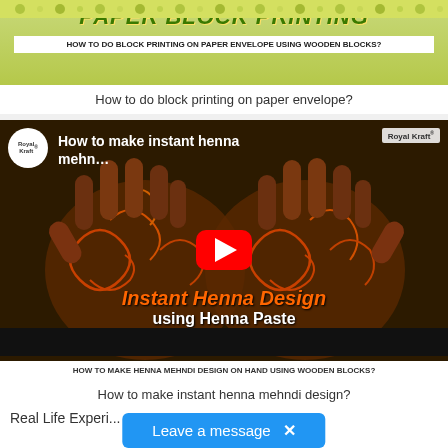[Figure (screenshot): YouTube video thumbnail for Paper Block Printing tutorial. Yellow-green floral background with bold green italic text 'PAPER BLOCK PRINTING' and white banner text 'HOW TO DO BLOCK PRINTING ON PAPER ENVELOPE USING WOODEN BLOCKS?']
How to do block printing on paper envelope?
[Figure (screenshot): YouTube video thumbnail for henna mehndi design tutorial by Royal Kraft. Shows two hands with intricate henna designs. Orange bold italic text 'Instant Henna Design' and white text 'using Henna Paste'. YouTube play button in center. Logo in top-left, 'Royal Kraft' watermark top-right. Bottom banner: 'HOW TO MAKE HENNA MEHNDI DESIGN ON HAND USING WOODEN BLOCKS?']
How to make instant henna mehndi design?
Real Life Experi...
Leave a message